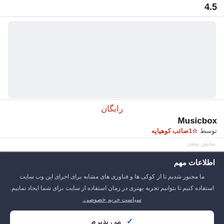4.5
[Figure (screenshot): Light gray rectangular placeholder image/card area]
رایگان
Musicbox
توسط ☆1صائب کوهیاپه
... (truncated blurred text row)
اطلاعات مهم
ما مجبور شدیم تا از کوکی ها و فناوری های مشابه برای اجرای این وب سایت استفاده کنیم تا بتوانیم تجربه بهتری در زمان استفاده از سایت برای شما ایجاد نماییم. سیاست حریم خصوصی.
✓ می پذیرم